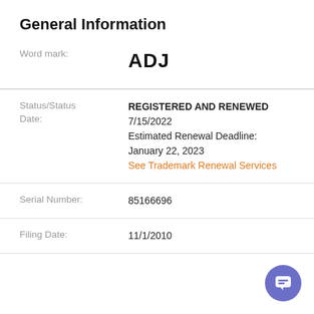General Information
| Field | Value |
| --- | --- |
| Word mark: | ADJ |
| Status/Status Date: | REGISTERED AND RENEWED
7/15/2022
Estimated Renewal Deadline:
January 22, 2023
See Trademark Renewal Services |
| Serial Number: | 85166696 |
| Filing Date: | 11/1/2010 |